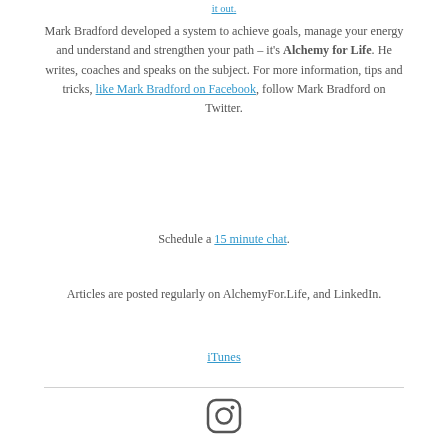it Out.
Mark Bradford developed a system to achieve goals, manage your energy and understand and strengthen your path – it's Alchemy for Life. He writes, coaches and speaks on the subject. For more information, tips and tricks, like Mark Bradford on Facebook, follow Mark Bradford on Twitter.
Schedule a 15 minute chat.
Articles are posted regularly on AlchemyFor.Life, and LinkedIn.
iTunes
[Figure (illustration): Instagram icon — rounded square with circle and dot inside]